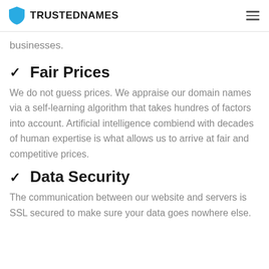TRUSTEDNAMES
businesses.
Fair Prices
We do not guess prices. We appraise our domain names via a self-learning algorithm that takes hundres of factors into account. Artificial intelligence combiend with decades of human expertise is what allows us to arrive at fair and competitive prices.
Data Security
The communication between our website and servers is SSL secured to make sure your data goes nowhere else.